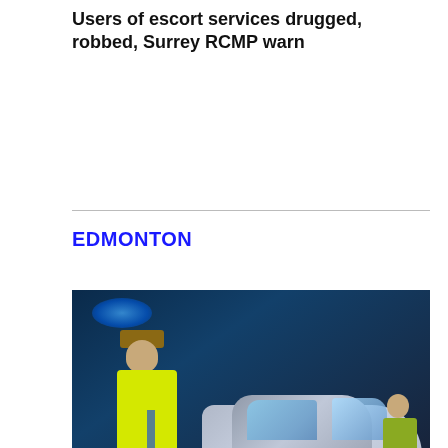Users of escort services drugged, robbed, Surrey RCMP warn
EDMONTON
[Figure (photo): Nighttime photo of a police officer in a yellow high-visibility vest standing next to a silver sedan (Honda Civic), with another officer visible on the right side of the vehicle. Scene appears to be a traffic stop or roadblock at night.]
EPS closing front counters to minor crash reports, bringing in third-party to file complaints